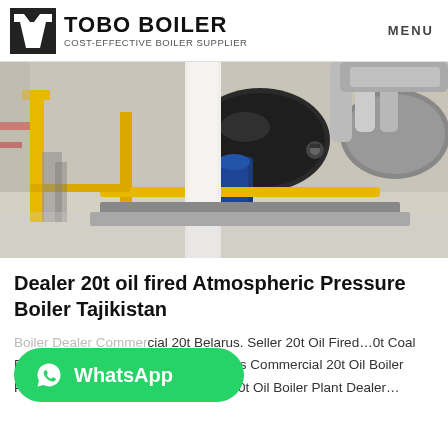TOBO BOILER — COST-EFFECTIVE BOILER SUPPLIER — MENU
[Figure (photo): Industrial boiler room with large cylindrical boilers, yellow structural supports, silver insulated pipes, and white concrete pillars.]
Dealer 20t oil fired Atmospheric Pressure Boiler Tajikistan
Boiler Dealer Commercial 20t Belarus. Seller 20t Oil Fired…0t Coal Fired Condensing Boiler Seller Belarus Commercial 20t Oil Boiler Plant Dealer Tajikistan. Commercial 20t Oil Boiler Plant Dealer...